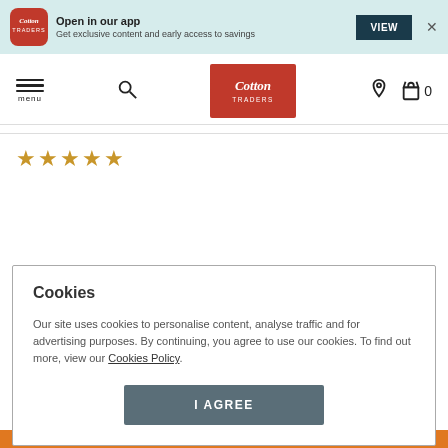[Figure (screenshot): Cotton Traders app promotional banner with logo, 'Open in our app' text, VIEW button, and close X]
[Figure (screenshot): Cotton Traders website navigation bar with menu, search, logo, location and bag icons]
[Figure (screenshot): Four and a half gold stars rating]
Cookies
Our site uses cookies to personalise content, analyse traffic and for advertising purposes. By continuing, you agree to use our cookies. To find out more, view our Cookies Policy.
I AGREE